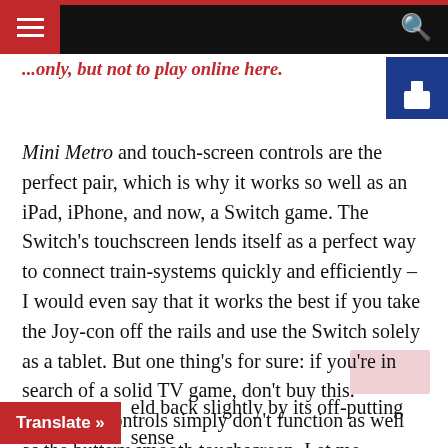[Navigation bar with hamburger menu and search icon]
...only, but not to play online here.
Mini Metro and touch-screen controls are the perfect pair, which is why it works so well as an iPad, iPhone, and now, a Switch game. The Switch's touchscreen lends itself as a perfect way to connect train-systems quickly and efficiently – I would even say that it works the best if you take the Joy-con off the rails and use the Switch solely as a tablet. But one thing's for sure: if you're in search of a solid TV game, don't buy this. Gamepad controls simply don't function as well as the buttery smooth touchscreen. Let me reiterate one more time: Don't play this game with a gamepad as i found out the hard way and was deleting tracks, left, right and centre.
W...eld back slightly by its off-putting sense